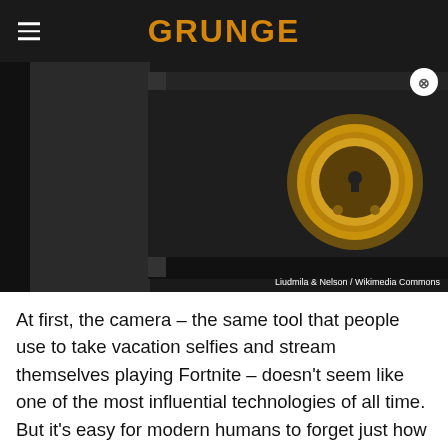GRUNGE
[Figure (photo): Close-up photograph of a black antique camera or safe-like box with a brass lens or lock mechanism. Photo credit: Liudmila & Nelson / Wikimedia Commons]
At first, the camera – the same tool that people use to take vacation selfies and stream themselves playing Fortnite – doesn't seem like one of the most influential technologies of all time. But it's easy for modern humans to forget just how revolutionary it is to be able to capture an entire scene with the click of a button.